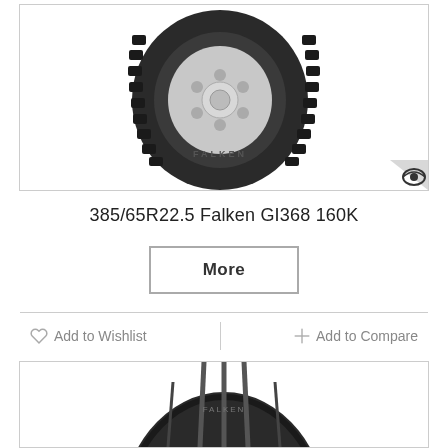[Figure (photo): Commercial truck tire (Falken GI368) with chrome rim, showing tread pattern, positioned on white background with Falken logo badge in bottom-right corner of image box.]
385/65R22.5 Falken GI368 160K
More
Add to Wishlist
Add to Compare
[Figure (photo): Partial view of a second commercial tire, showing tread pattern, cropped at bottom of page.]